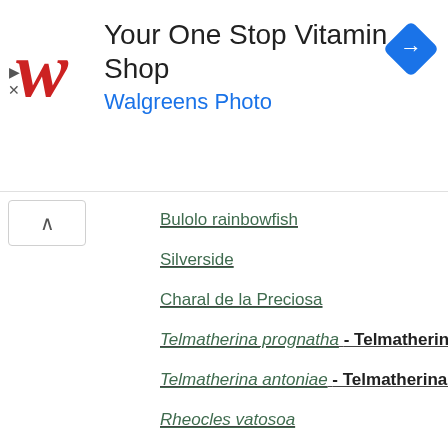[Figure (screenshot): Walgreens advertisement banner: 'Your One Stop Vitamin Shop' with Walgreens Photo subtitle, Walgreens W logo in red, navigation/direction icon in blue diamond on the right, and ad controls (triangle play and X) on the left.]
Bulolo rainbowfish
Silverside
Charal de la Preciosa
Telmatherina prognatha - Telmatherina prognatha i
Telmatherina antoniae - Telmatherina antoniae is a
Rheocles vatosoa
Membras argentea
Katrana
St. Maarten pejerry
Madagascar rainbow fish
Vogelkop blue-eye
Paratherina labiosa - Paratherina labiosa is a spec
Brook silverside
Boned rainbowfish